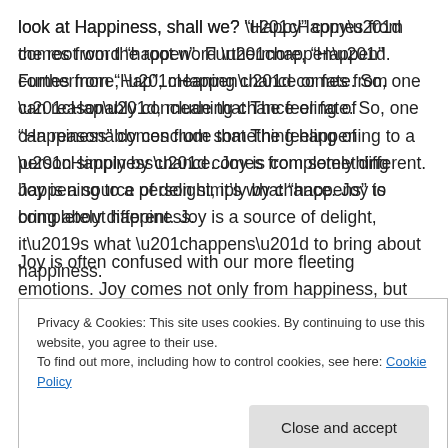look at Happiness, shall we? “Happy” comes from the root word “happen”. Furthermore, “Happen” comes from “Hap”, meaning chance or fate. So, one can reasonably conclude that The feeling of “Happiness” comes from something happening to a person simply by chance. Joy is completely different. Joy is a source of delight, it’s what “happens” to bring about happiness.
Joy is often confused with our more fleeting emotions. Joy comes not only from happiness, but from anticipation, excitement, contentment, comfort, affection, pride,
Privacy & Cookies: This site uses cookies. By continuing to use this website, you agree to their use.
To find out more, including how to control cookies, see here: Cookie Policy
get too caught up in the destination, when the journey